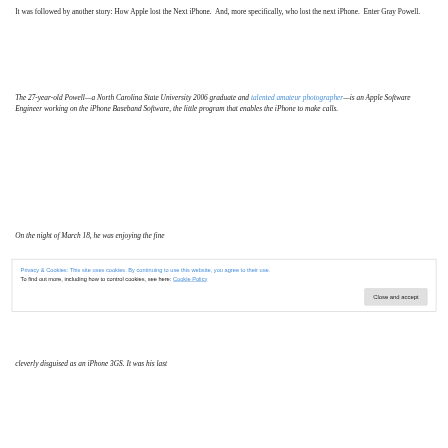It was followed by another story: How Apple lost the Next iPhone.  And, more specifically, who lost the next iPhone.  Enter Gray Powell.
The 27-year-old Powell—a North Carolina State University 2006 graduate and talented amateur photographer—is an Apple Software Engineer working on the iPhone Baseband Software, the little program that enables the iPhone to make calls.
On the night of March 18, he was enjoying the fine
Privacy & Cookies: This site uses cookies. By continuing to use this website, you agree to their use.
To find out more, including how to control cookies, see here: Cookie Policy
Close and accept
cleverly disguised as an iPhone 3GS. It was his last